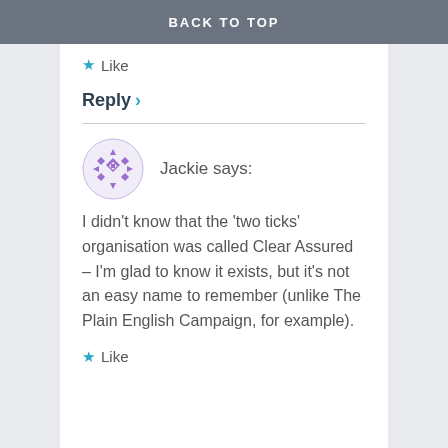BACK TO TOP
★ Like
Reply ›
Jackie says:
I didn't know that the 'two ticks' organisation was called Clear Assured – I'm glad to know it exists, but it's not an easy name to remember (unlike The Plain English Campaign, for example).
★ Like